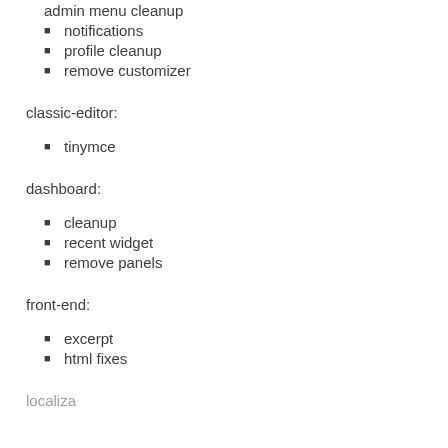admin menu cleanup (partial, cut off at top)
notifications
profile cleanup
remove customizer
classic-editor:
tinymce
dashboard:
cleanup
recent widget
remove panels
front-end:
excerpt
html fixes
localiza... (cut off)